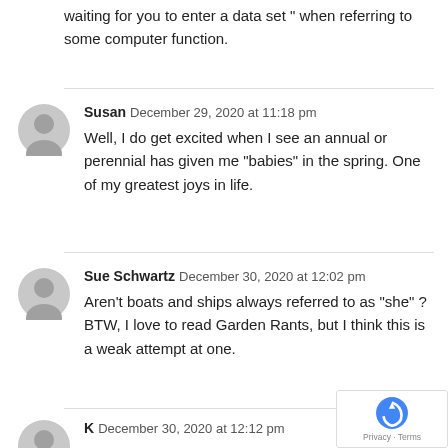waiting for you to enter a data set " when referring to some computer function.
Susan  December 29, 2020 at 11:18 pm
Well, I do get excited when I see an annual or perennial has given me “babies” in the spring. One of my greatest joys in life.
Sue Schwartz  December 30, 2020 at 12:02 pm
Aren’t boats and ships always referred to as “she” ? BTW, I love to read Garden Rants, but I think this is a weak attempt at one.
K  December 30, 2020 at 12:12 pm
It drives me far more batty when cars are called